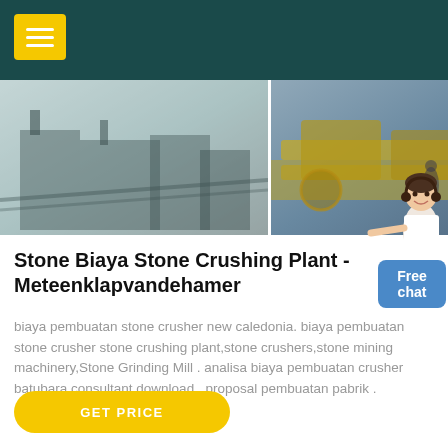Navigation header with menu icon
[Figure (photo): Three industrial stone crushing plant machinery photos side by side]
Stone Biaya Stone Crushing Plant - Meteenklapvandehamer
biaya pembuatan stone crusher new caledonia. biaya pembuatan stone crusher stone crushing plant,stone crushers,stone mining machinery,Stone Grinding Mill . analisa biaya pembuatan crusher batubara consultant download . proposal pembuatan pabrik .
[Figure (illustration): Customer service character figure and Free chat button]
GET PRICE